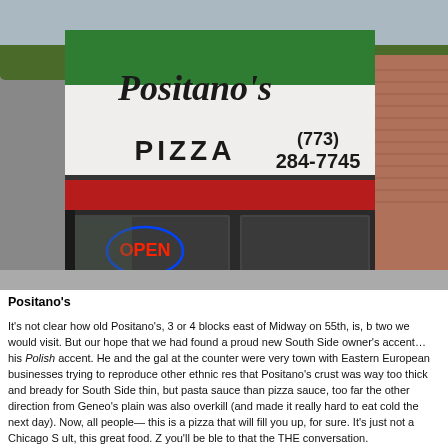[Figure (photo): Exterior photograph of Positano's Pizza restaurant storefront showing green-white-red striped awning with 'Positano's PIZZA' sign and phone number (773) 284-7745, with an OPEN neon sign visible in the window]
Positano's
It's not clear how old Positano's, 3 or 4 blocks east of Midway on 55th, is, b two we would visit. But our hope that we had found a proud new South Side owner's accent… his Polish accent. He and the gal at the counter were very town with Eastern European businesses trying to reproduce other ethnic res that Positano's crust was way too thick and bready for South Side thin, but pasta sauce than pizza sauce, too far the other direction from Geneo's plain was also overkill (and made it really hard to eat cold the next day). Now, all people— this is a pizza that will fill you up, for sure. It's just not a Chicago S ult, this great food. Z you'll be ble to that the THE conversation.